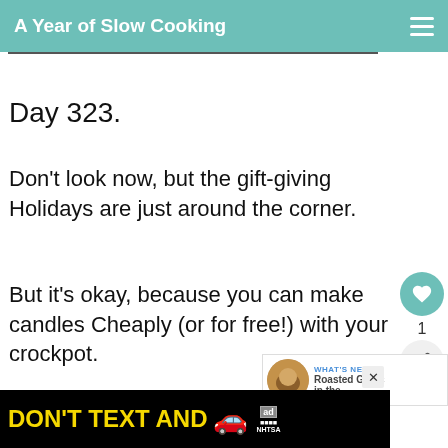A Year of Slow Cooking
Day 323.
Don't look now, but the gift-giving Holidays are just around the corner.
But it's okay, because you can make candles Cheaply (or for free!) with your crockpot.
I love candles, especially inexpensive ones,
[Figure (other): Advertisement banner: DON'T TEXT AND with car emoji, ad badge, NHTSA logo]
[Figure (other): What's Next widget with thumbnail image for Roasted Garlic in the...]